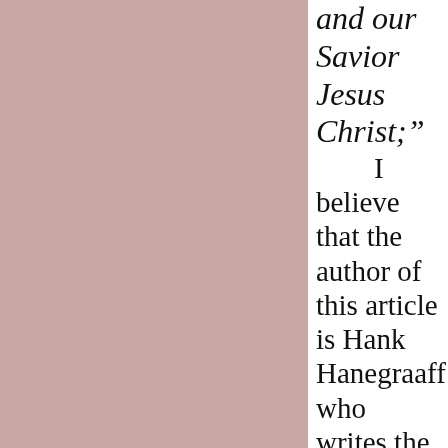[Figure (other): Large pink/mauve colored rectangular area occupying the left portion of the page]
and our Savior Jesus Christ;” I believe that the author of this article is Hank Hanegraaff who writes the following.